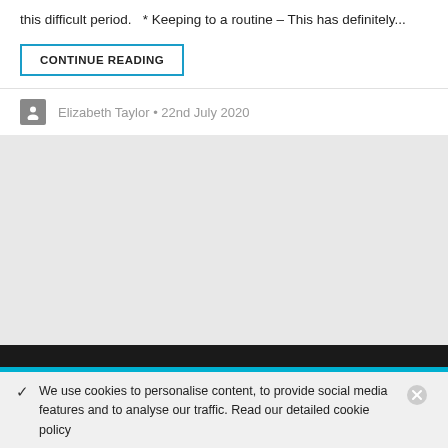this difficult period.   * Keeping to a routine – This has definitely...
CONTINUE READING
Elizabeth Taylor • 22nd July 2020
[Figure (photo): Large grey placeholder image area below author bar]
✓  We use cookies to personalise content, to provide social media features and to analyse our traffic. Read our detailed cookie policy